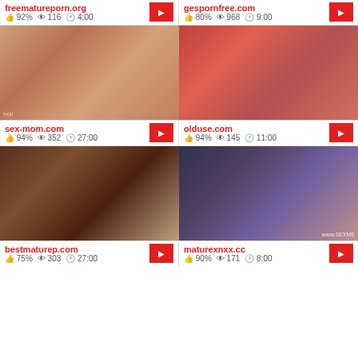freematureporn.org — 92% | 116 views | 4:00
gespornfree.com — 80% | 968 views | 9:00
[Figure (photo): Adult content thumbnail - sex-mom.com]
[Figure (photo): Adult content thumbnail - olduse.com]
sex-mom.com — 94% | 352 views | 27:00
olduse.com — 94% | 145 views | 11:00
[Figure (photo): Adult content thumbnail - bestmaturep.com]
[Figure (photo): Adult content thumbnail - maturexnxx.cc]
bestmaturep.com — 75% | 303 views | 27:00
maturexnxx.cc — 90% | 171 views | 8:00